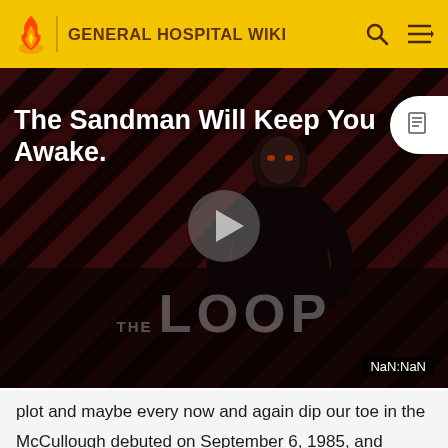GENERAL HOSPITAL WIKI
[Figure (screenshot): Video thumbnail showing a darkly dressed figure against red-and-black diagonal stripes background with 'THE LOOP' text. Title reads 'The Sandman Will Keep You Awake.' with a play button in the center and NaN:NaN timestamp in the bottom right corner.]
plot and maybe every now and again dip our toe in the actual storyline."
McCullough debuted on September 6, 1985, and stayed with the series until September 12, 1996. Afterwards, she returned as a series regular for brief stints. Zone at 47